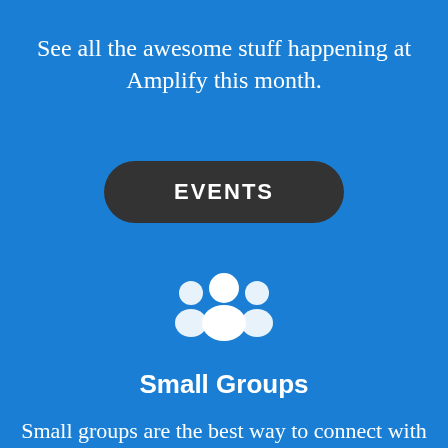See all the awesome stuff happening at Amplify this month.
EVENTS
[Figure (illustration): White group/community people icon on blue background]
Small Groups
Small groups are the best way to connect with others and grow in God.